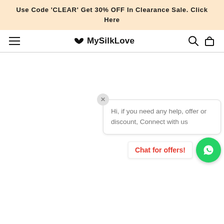Use Code 'CLEAR' Get 30% OFF In Clearance Sale. Click Here
[Figure (screenshot): MySilkLove website navigation bar with hamburger menu, butterfly logo and brand name 'MySilkLove', search icon, and cart icon]
Hi, if you need any help, offer or discount, Connect with us
Chat for offers!